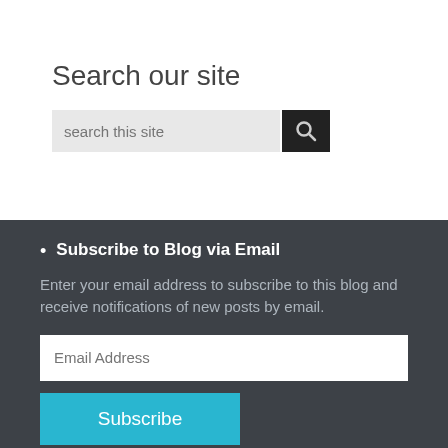Search our site
[Figure (screenshot): Search input field with placeholder text 'search this site' and a dark search button with magnifying glass icon]
Subscribe to Blog via Email
Enter your email address to subscribe to this blog and receive notifications of new posts by email.
[Figure (screenshot): Email address input field with placeholder 'Email Address' and a teal Subscribe button]